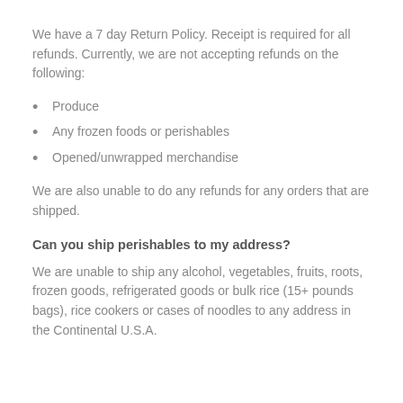We have a 7 day Return Policy. Receipt is required for all refunds. Currently, we are not accepting refunds on the following:
Produce
Any frozen foods or perishables
Opened/unwrapped merchandise
We are also unable to do any refunds for any orders that are shipped.
Can you ship perishables to my address?
We are unable to ship any alcohol, vegetables, fruits, roots, frozen goods, refrigerated goods or bulk rice (15+ pounds bags), rice cookers or cases of noodles to any address in the Continental U.S.A.